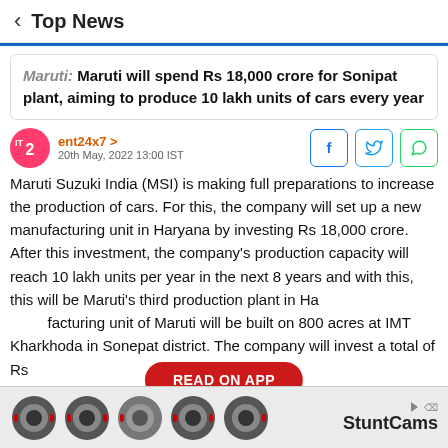Top News
Maruti: Maruti will spend Rs 18,000 crore for Sonipat plant, aiming to produce 10 lakh units of cars every year
ent24x7 >
20th May, 2022 13:00 IST
Maruti Suzuki India (MSI) is making full preparations to increase the production of cars. For this, the company will set up a new manufacturing unit in Haryana by investing Rs 18,000 crore. After this investment, the company's production capacity will reach 10 lakh units per year in the next 8 years and with this, this will be Maruti's third production plant in Haryana. The new manufacturing unit of Maruti will be built on 800 acres at IMT Kharkhoda in Sonepat district. The company will invest a total of Rs
[Figure (other): READ ON APP button overlay in red]
[Figure (other): StuntCams advertisement banner with camera lens images]